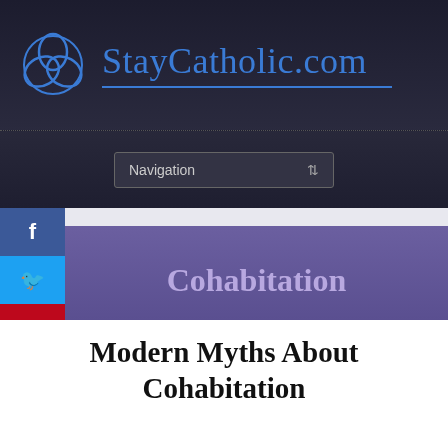StayCatholic.com
Navigation
Cohabitation
Modern Myths About Cohabitation